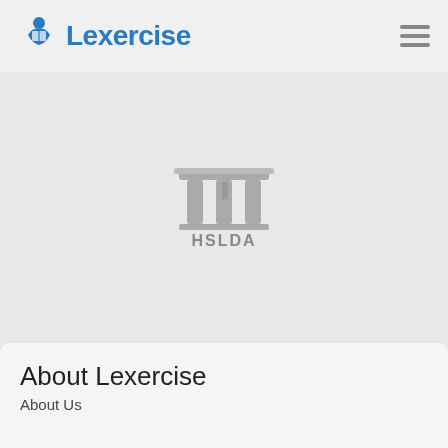[Figure (logo): Lexercise logo with blue figure reading and blue text 'Lexercise']
[Figure (logo): HSLDA logo - grey columned building/pillar icon with bookmark, text 'HSLDA' in bold grey below]
[Figure (logo): Learning Ally logo - dark text with sound wave brackets ')(' and 'Learning Ally' text]
About Lexercise
About Us